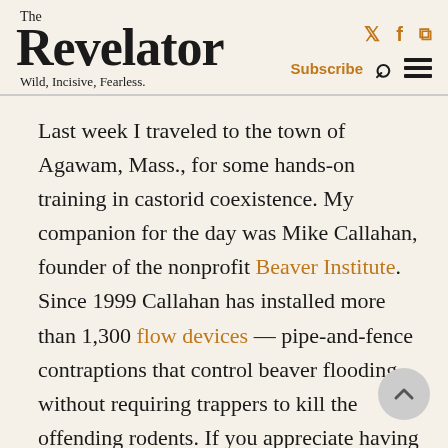The Revelator — Wild, Incisive, Fearless.
Last week I traveled to the town of Agawam, Mass., for some hands-on training in castorid coexistence. My companion for the day was Mike Callahan, founder of the nonprofit Beaver Institute. Since 1999 Callahan has installed more than 1,300 flow devices — pipe-and-fence contraptions that control beaver flooding without requiring trappers to kill the offending rodents. If you appreciate having beavers in your backyard but aren't keen on snorkeling through your basement, a flow device might be the solution you need.